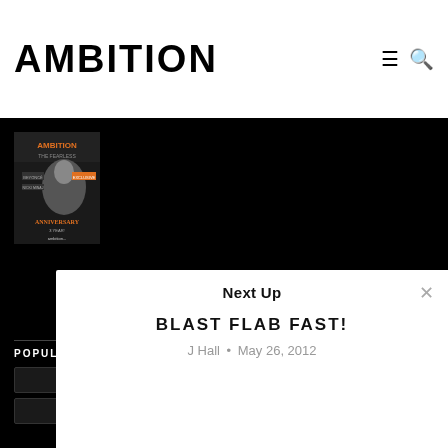AMBITION
[Figure (photo): Ambition magazine cover showing a woman with long hair and text including ANNIVERSARY]
POPULAR TAGS
Next Up
BLAST FLAB FAST!
J Hall • May 26, 2012